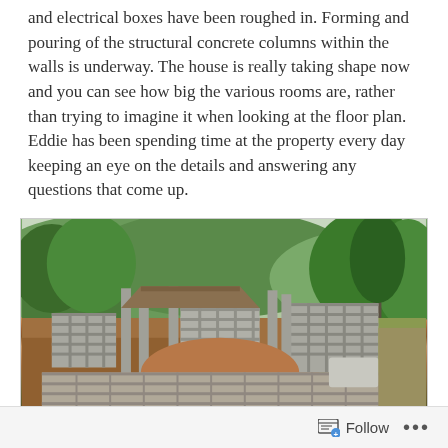and electrical boxes have been roughed in. Forming and pouring of the structural concrete columns within the walls is underway. The house is really taking shape now and you can see how big the various rooms are, rather than trying to imagine it when looking at the floor plan. Eddie has been spending time at the property every day keeping an eye on the details and answering any questions that come up.
[Figure (photo): Aerial/elevated view of a house construction site surrounded by lush green tropical forest. The site shows concrete block walls being erected, vertical rebar columns, red/brown soil exposed foundation areas, and a temporary shelter roof. Mountains with dense vegetation visible in the background.]
Follow ...